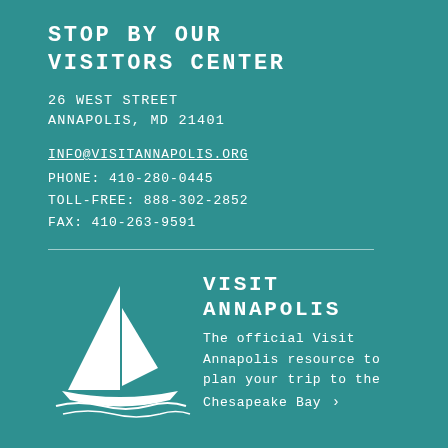STOP BY OUR VISITORS CENTER
26 WEST STREET
ANNAPOLIS, MD 21401
INFO@VISITANNAPOLIS.ORG
PHONE: 410-280-0445
TOLL-FREE: 888-302-2852
FAX: 410-263-9591
[Figure (illustration): White sailboat logo illustration on teal background]
VISIT ANNAPOLIS
The official Visit Annapolis resource to plan your trip to the Chesapeake Bay ›